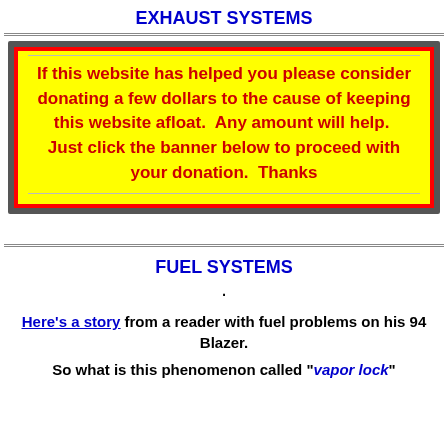EXHAUST SYSTEMS
[Figure (infographic): Yellow donation box with red border and gray shadow, containing centered red bold text asking readers to donate to keep the website afloat.]
FUEL SYSTEMS
·
Here's a story from a reader with fuel problems on his 94 Blazer.
So what is this phenomenon called "vapor lock"